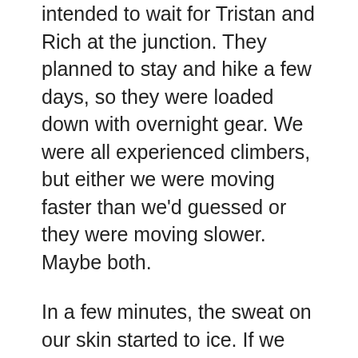intended to wait for Tristan and Rich at the junction. They planned to stay and hike a few days, so they were loaded down with overnight gear. We were all experienced climbers, but either we were moving faster than we'd guessed or they were moving slower. Maybe both.
In a few minutes, the sweat on our skin started to ice. If we stayed still, it wouldn't be long before frostbite set in. We waited as long as we could, maybe 15 minutes, but no figures appeared through the snow. So we turned to the trail and, being more sure of our shivering than of our direction, went right at the fork and hurried along to warm up.